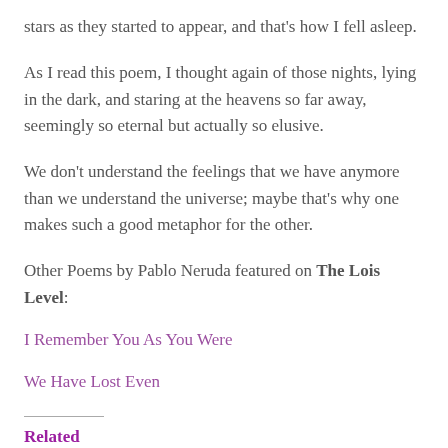stars as they started to appear, and that's how I fell asleep.
As I read this poem, I thought again of those nights, lying in the dark, and staring at the heavens so far away, seemingly so eternal but actually so elusive.
We don't understand the feelings that we have anymore than we understand the universe; maybe that's why one makes such a good metaphor for the other.
Other Poems by Pablo Neruda featured on The Lois Level:
I Remember You As You Were
We Have Lost Even
Related